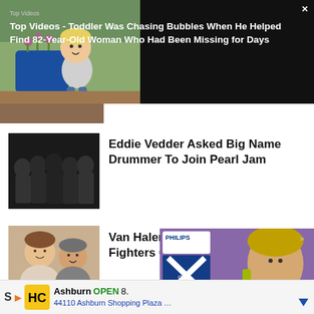[Figure (screenshot): Top banner: black background with photo of toddler chasing bubbles outdoors, and headline text]
Top Videos - Toddler Was Chasing Bubbles When He Helped Find 82-Year-Old Woman Who Had Been Missing for Days
[Figure (photo): Group photo of rock band members in dark clothing]
Eddie Vedder Asked Big Name Drummer To Join Pearl Jam
[Figure (photo): Selfie of two people smiling]
Van Halen Furious After Foo Fighters Controversy
[Figure (screenshot): Philips advertisement showing young man using electric razor with text: Perfect for my son... so gentle and flexible! -Shay K., Florida. Five star rating. New at Target. Buy now button.]
[Figure (screenshot): Bottom ad bar: HC logo, Ashburn OPEN 8. 44110 Ashburn Shopping Plaza...]